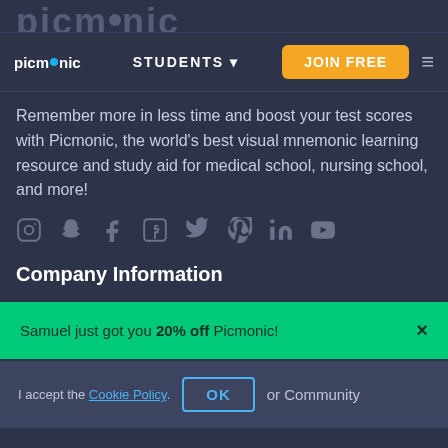[Figure (screenshot): Picmonic website navigation bar with logo, STUDENTS dropdown, JOIN FREE orange button, and hamburger menu]
Remember more in less time and boost your test scores with Picmonic, the world's best visual mnemonic learning resource and study aid for medical school, nursing school, and more!
[Figure (other): Row of social media icons: Instagram, Snapchat, two Facebook variants, Twitter, Pinterest, LinkedIn, YouTube]
Company Information
Samuel just got you 20% off Picmonic!
I accept the Cookie Policy. OK or Community